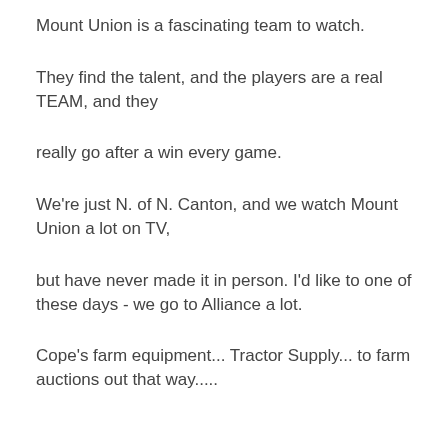Mount Union is a fascinating team to watch.
They find the talent, and the players are a real TEAM, and they
really go after a win every game.
We're just N. of N. Canton, and we watch Mount Union a lot on TV,
but have never made it in person. I'd like to one of these days - we go to Alliance a lot.
Cope's farm equipment... Tractor Supply... to farm auctions out that way.....